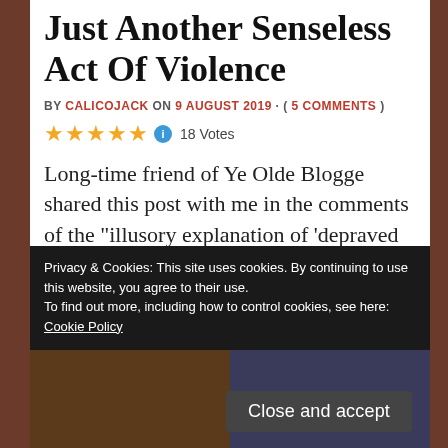Just Another Senseless Act Of Violence
BY CALICOJACK ON 9 AUGUST 2019 · ( 5 COMMENTS )
★★★★★ ℹ 18 Votes
Long-time friend of Ye Olde Blogge shared this post with me in the comments of the "illusory explanation of 'depraved evil'" post the other day.
Privacy & Cookies: This site uses cookies. By continuing to use this website, you agree to their use.
To find out more, including how to control cookies, see here: Cookie Policy
Close and accept
[Figure (photo): Two dark/low-light photos side by side at the bottom of the page]